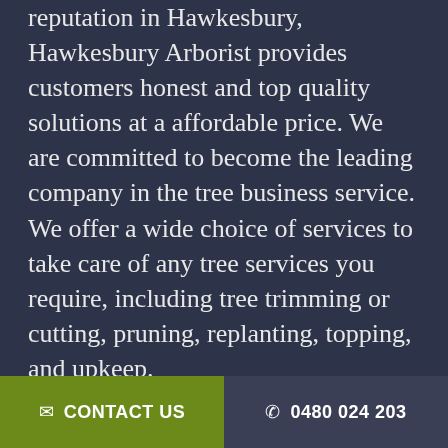reputation in Hawkesbury, Hawkesbury Arborist provides customers honest and top quality solutions at a affordable price. We are committed to become the leading company in the tree business service. We offer a wide choice of services to take care of any tree services you require, including tree trimming or cutting, pruning, replanting, topping, and upkeep.
Our services are exceptionally great, so contact us for all your arboreal issues whether they are older trees that need removed, tree stumps or some other sort of tree service. With advanced tools and highly trained employees, we can manage any and all of them.
We offer expert tree removal solutions to Hawkesbury and its surrounding suburbs with cost-effectiveness in mind. The affordability
✉ CONTACT US   ✆ 0480 024 203